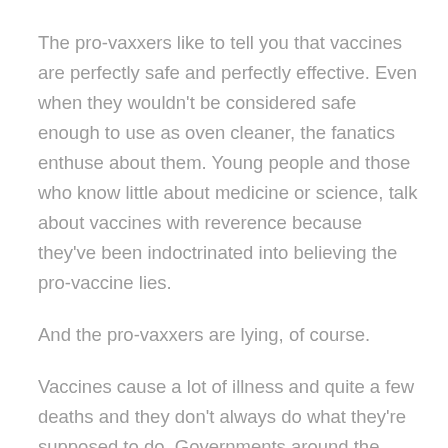The pro-vaxxers like to tell you that vaccines are perfectly safe and perfectly effective. Even when they wouldn't be considered safe enough to use as oven cleaner, the fanatics enthuse about them. Young people and those who know little about medicine or science, talk about vaccines with reverence because they've been indoctrinated into believing the pro-vaccine lies.
And the pro-vaxxers are lying, of course.
Vaccines cause a lot of illness and quite a few deaths and they don't always do what they're supposed to do. Governments around the world have paid out